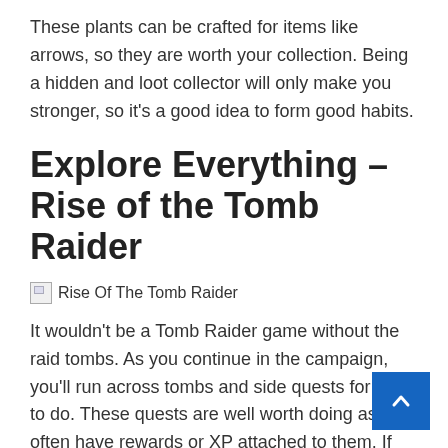These plants can be crafted for items like arrows, so they are worth your collection. Being a hidden and loot collector will only make you stronger, so it's a good idea to form good habits.
Explore Everything – Rise of the Tomb Raider
[Figure (photo): Broken image placeholder with alt text: Rise Of The Tomb Raider]
It wouldn't be a Tomb Raider game without the raid tombs. As you continue in the campaign, you'll run across tombs and side quests for Lara to do. These quests are well worth doing as they often have rewards or XP attached to them. If you want to maximize your experience and go for more loot, be sure to explore every nook and cranny.